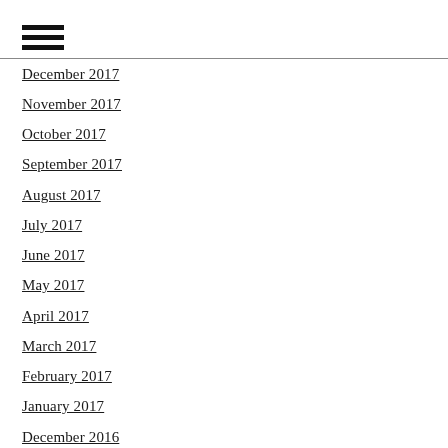[Figure (other): Hamburger menu icon with three horizontal bars]
December 2017
November 2017
October 2017
September 2017
August 2017
July 2017
June 2017
May 2017
April 2017
March 2017
February 2017
January 2017
December 2016
November 2016
October 2016
September 2016